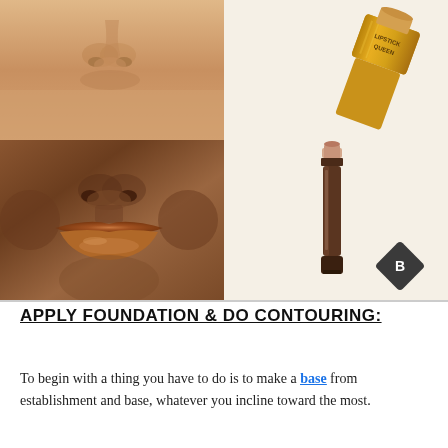[Figure (photo): Top-left: Close-up photo of a face with light skin tone showing nose and chin area]
[Figure (photo): Top-right: Gold/yellow lipstick product (Lipstick Queen brand) shown at an angle]
[Figure (photo): Bottom-left: Close-up photo of a face with dark skin tone showing nose, lips with brown/bronze lipstick applied]
[Figure (photo): Bottom-right: Brown lip liner pencil/stick product standing upright with a diamond-shaped 'B' logo badge in corner]
APPLY FOUNDATION & DO CONTOURING:
To begin with a thing you have to do is to make a base from establishment and base, whatever you incline toward the most.